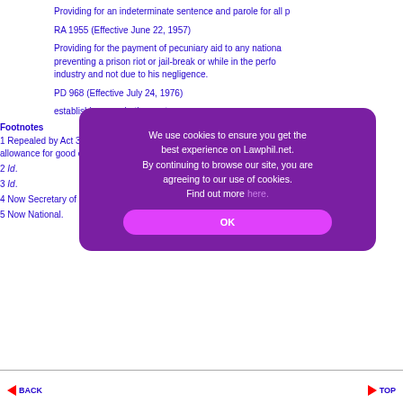Providing for an indeterminate sentence and parole for all p
RA 1955 (Effective June 22, 1957)
Providing for the payment of pecuniary aid to any national preventing a prison riot or jail-break or while in the performance of industry and not due to his negligence.
PD 968 (Effective July 24, 1976)
establishing a probation system...
Footnotes
1 Repealed by Act 38... approved December 8, 193... allowance for good conduct.
2 Id.
3 Id.
4 Now Secretary of Justice.
5 Now National.
[Figure (screenshot): Cookie consent overlay modal on Lawphil.net website. Purple background with white text: 'We use cookies to ensure you get the best experience on Lawphil.net. By continuing to browse our site, you are agreeing to our use of cookies. Find out more here.' with a pink OK button.]
BACK  TOP